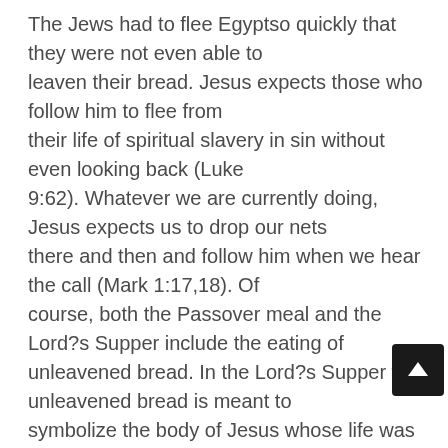The Jews had to flee Egyptso quickly that they were not even able to leaven their bread. Jesus expects those who follow him to flee from their life of spiritual slavery in sin without even looking back (Luke 9:62). Whatever we are currently doing, Jesus expects us to drop our nets there and then and follow him when we hear the call (Mark 1:17,18). Of course, both the Passover meal and the Lord?s Supper include the eating of unleavened bread. In the Lord?s Supper the unleavened bread is meant to symbolize the body of Jesus whose life was without leaven. We have already seen in chapter six that leaven is a symbol of si... Before the Passover meal, Jews go through a traditional searching of